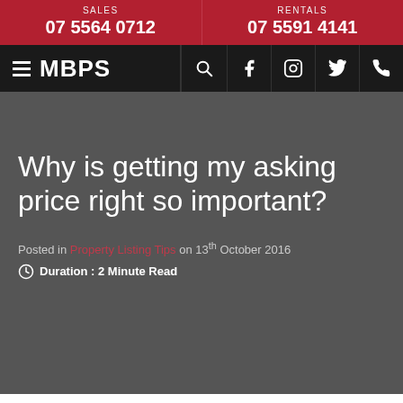SALES 07 5564 0712 | RENTALS 07 5591 4141
≡ MBPS [search] [facebook] [instagram] [twitter] [phone]
Why is getting my asking price right so important?
Posted in Property Listing Tips on 13th October 2016
Duration: 2 Minute Read